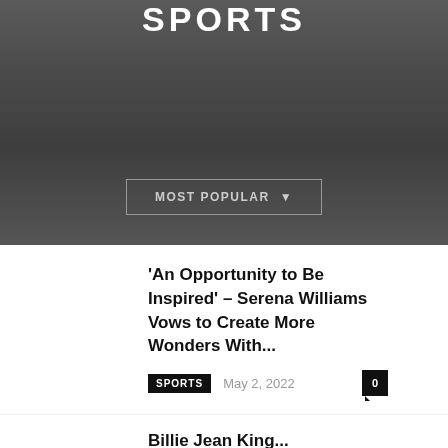SPORTS
MOST POPULAR ▾
'An Opportunity to Be Inspired' – Serena Williams Vows to Create More Wonders With...
SPORTS  May 2, 2022  0
Billie Jean King...